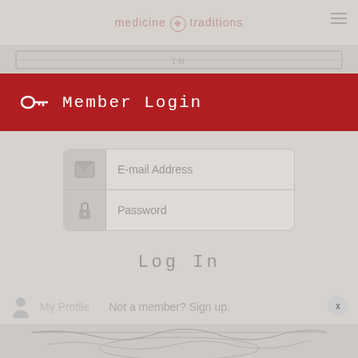medicine traditions
[Figure (illustration): Decorative ornamental banner strip at top]
Member Login
[Figure (screenshot): Login form with E-mail Address and Password fields, each with an icon on the left]
Log In
My Profile   Not a member? Sign up.
[Figure (illustration): Decorative classical engraving illustration at the bottom]